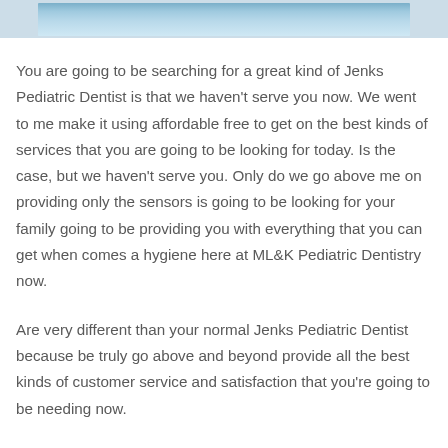[Figure (photo): Cropped photograph of dental/pediatric dentistry scene with light blue tones, partially visible at top of page]
You are going to be searching for a great kind of Jenks Pediatric Dentist is that we haven't serve you now. We went to me make it using affordable free to get on the best kinds of services that you are going to be looking for today. Is the case, but we haven't serve you. Only do we go above me on providing only the sensors is going to be looking for your family going to be providing you with everything that you can get when comes a hygiene here at ML&K Pediatric Dentistry now.
Are very different than your normal Jenks Pediatric Dentist because be truly go above and beyond provide all the best kinds of customer service and satisfaction that you're going to be needing now.